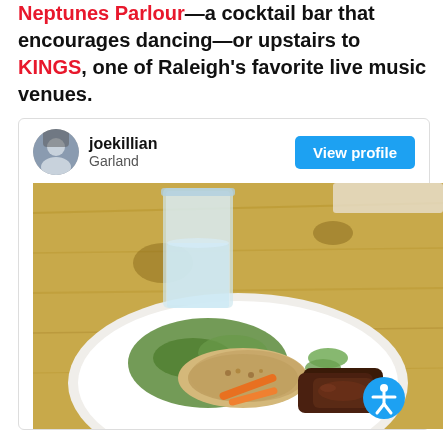Neptunes Parlour—a cocktail bar that encourages dancing—or upstairs to KINGS, one of Raleigh's favorite live music venues.
[Figure (screenshot): A user profile card from a review website showing user 'joekillian' from Garland with a 'View profile' button, and below it a photo of a Vietnamese noodle bowl with grilled meat, carrots, greens, and crushed peanuts on a wooden table with a glass of water.]